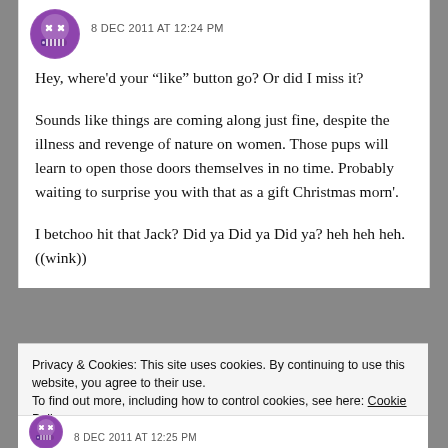[Figure (illustration): Purple round cartoon emoji avatar with X eyes and a zipper mouth]
8 DEC 2011 AT 12:24 PM
Hey, where'd your “like” button go? Or did I miss it?
Sounds like things are coming along just fine, despite the illness and revenge of nature on women. Those pups will learn to open those doors themselves in no time. Probably waiting to surprise you with that as a gift Christmas morn'.
I betchoo hit that Jack? Did ya Did ya Did ya? heh heh heh. ((wink))
Privacy & Cookies: This site uses cookies. By continuing to use this website, you agree to their use. To find out more, including how to control cookies, see here: Cookie Policy
Close and accept
[Figure (illustration): Purple round cartoon emoji avatar at bottom, partially visible]
8 DEC 2011 AT 12:25 PM